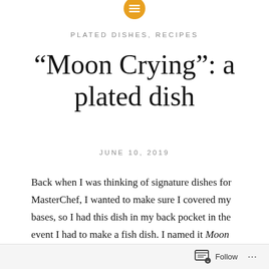[Figure (logo): Orange circular icon with horizontal lines (menu/list icon) at top center]
PLATED DISHES, RECIPES
“Moon Crying”: a plated dish
JUNE 10, 2019
Back when I was thinking of signature dishes for MasterChef, I wanted to make sure I covered my bases, so I had this dish in my back pocket in the event I had to make a fish dish. I named it Moon Crying, again after a Koda Kumi song, because she’s by far my favorite singer, so why the hell not? When I was thinking about the song, I thought about how the moon correlates to the ocean, so when the moon cries, the tide rises. I thought also about round, white ingredients, and immediately, I thought about scallops.
Follow